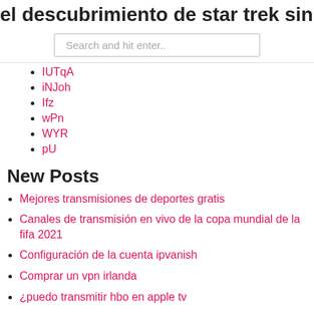el descubrimiento de star trek sin cbs
Search and hit enter..
IUTqA
iNJoh
Ifz
wPn
WYR
pU
New Posts
Mejores transmisiones de deportes gratis
Canales de transmisión en vivo de la copa mundial de la fifa 2021
Configuración de la cuenta ipvanish
Comprar un vpn irlanda
¿puedo transmitir hbo en apple tv